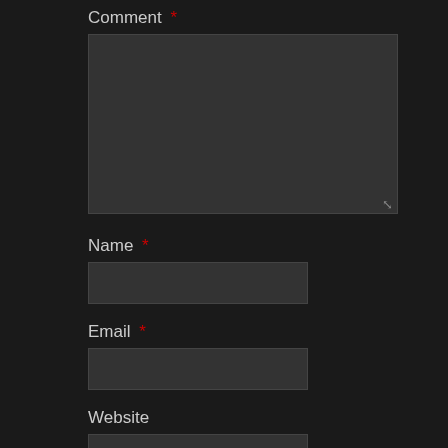Comment *
[Figure (screenshot): Empty comment textarea (dark background, resizable)]
Name *
[Figure (screenshot): Empty Name input field]
Email *
[Figure (screenshot): Empty Email input field]
Website
[Figure (screenshot): Empty Website input field]
Save my name, email, and website in this browser for the next time I comment.